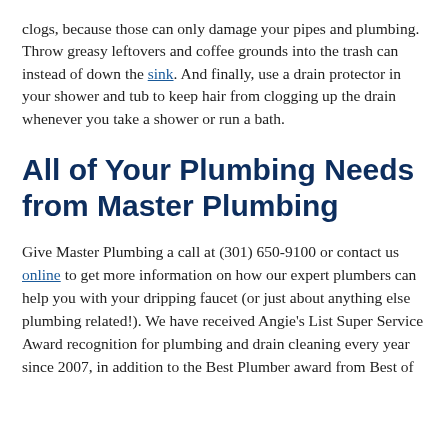clogs, because those can only damage your pipes and plumbing. Throw greasy leftovers and coffee grounds into the trash can instead of down the sink. And finally, use a drain protector in your shower and tub to keep hair from clogging up the drain whenever you take a shower or run a bath.
All of Your Plumbing Needs from Master Plumbing
Give Master Plumbing a call at (301) 650-9100 or contact us online to get more information on how our expert plumbers can help you with your dripping faucet (or just about anything else plumbing related!). We have received Angie's List Super Service Award recognition for plumbing and drain cleaning every year since 2007, in addition to the Best Plumber award from Best of